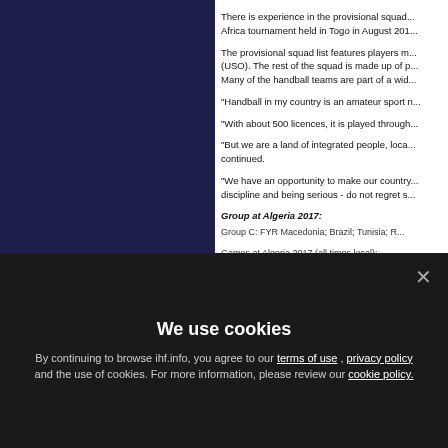[Figure (photo): Dark navy blue rectangular panel on the left side of the page]
There is experience in the provisional squad... Africa tournament held in Togo in August 201...
The provisional squad list features players m... (USO). The rest of the squad is made up of p... Many of the handball teams are part of a wid...
"Handball in my country is an amateur sport n...
"With about 500 licences, it is played through...
"But we are a land of integrated people, loca... continued.
"We have an opportunity to make our country... discipline and being serious - do not regret s...
Group at Algeria 2017:
Group C: FYR Macedonia; Brazil; Tunisia; R...
Games at Algeria 2017 (all times local):
UV-BJ... EUR-MK... POR-BJ... EUR-MK... BOR-...
We use cookies
By continuing to browse ihf.info, you agree to our terms of use , privacy policy and the use of cookies. For more information, please review our cookie policy.